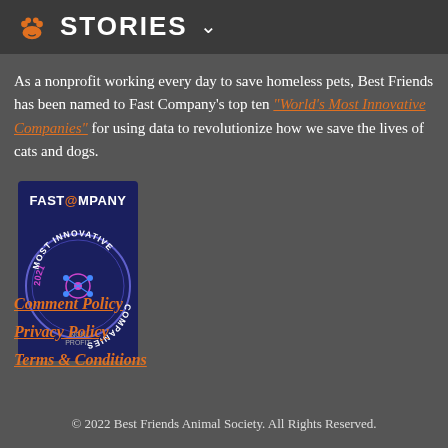STORIES
As a nonprofit working every day to save homeless pets, Best Friends has been named to Fast Company's top ten "World's Most Innovative Companies" for using data to revolutionize how we save the lives of cats and dogs.
[Figure (logo): Fast Company 2021 Most Innovative Companies circular badge/seal with dark blue background]
Comment Policy
Privacy Policy
Terms & Conditions
© 2022 Best Friends Animal Society. All Rights Reserved.